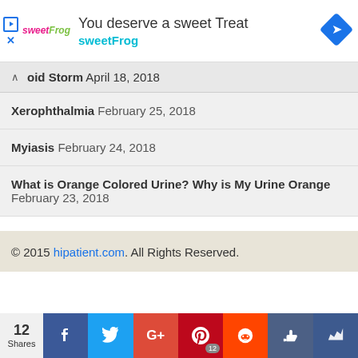[Figure (other): sweetFrog advertisement banner: 'You deserve a sweet Treat / sweetFrog' with logo and diamond navigation icon]
oid Storm April 18, 2018
Xerophthalmia February 25, 2018
Myiasis February 24, 2018
What is Orange Colored Urine? Why is My Urine Orange February 23, 2018
© 2015 hipatient.com. All Rights Reserved.
[Figure (other): Social share bar: 12 Shares, Facebook, Twitter, Google+, Pinterest, Reddit, Like, SumoMe buttons]